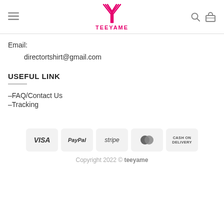TEEYAME
Email:
directortshirt@gmail.com
USEFUL LINK
–FAQ/Contact Us
–Tracking
[Figure (other): Payment method badges: VISA, PayPal, stripe, MasterCard, CASH ON DELIVERY]
Copyright 2022 © teeyame